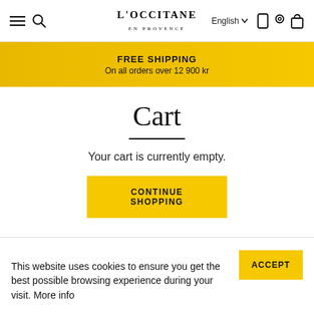L'OCCITANE EN PROVENCE — English — navigation icons
FREE SHIPPING
On all orders over 12 900 kr
Cart
Your cart is currently empty.
CONTINUE SHOPPING
This website uses cookies to ensure you get the best possible browsing experience during your visit. More info